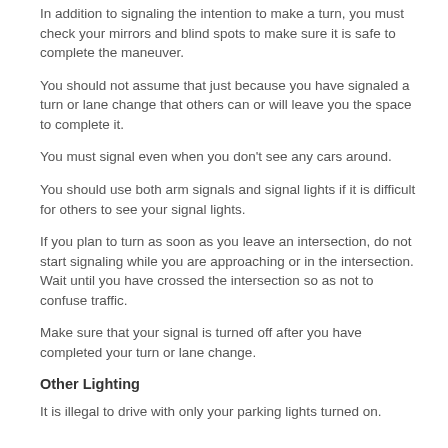In addition to signaling the intention to make a turn, you must check your mirrors and blind spots to make sure it is safe to complete the maneuver.
You should not assume that just because you have signaled a turn or lane change that others can or will leave you the space to complete it.
You must signal even when you don't see any cars around.
You should use both arm signals and signal lights if it is difficult for others to see your signal lights.
If you plan to turn as soon as you leave an intersection, do not start signaling while you are approaching or in the intersection. Wait until you have crossed the intersection so as not to confuse traffic.
Make sure that your signal is turned off after you have completed your turn or lane change.
Other Lighting
It is illegal to drive with only your parking lights turned on.